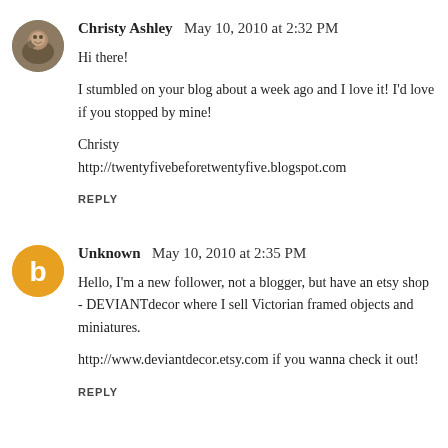[Figure (illustration): Circular avatar photo of Christy Ashley showing a person with a dog outdoors, earthy tones]
Christy Ashley May 10, 2010 at 2:32 PM
Hi there!

I stumbled on your blog about a week ago and I love it! I'd love if you stopped by mine!

Christy
http://twentyfivebeforetwentyfive.blogspot.com
REPLY
[Figure (logo): Circular orange Blogger icon with white 'b' letter]
Unknown May 10, 2010 at 2:35 PM
Hello, I'm a new follower, not a blogger, but have an etsy shop - DEVIANTdecor where I sell Victorian framed objects and miniatures.

http://www.deviantdecor.etsy.com if you wanna check it out!
REPLY